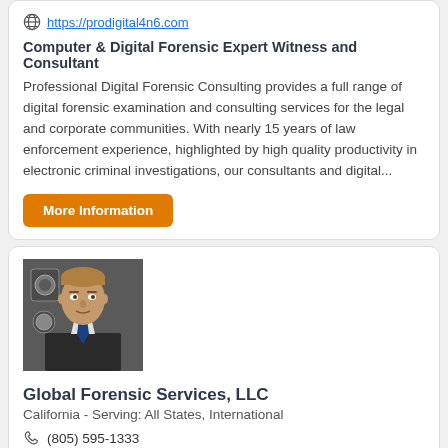https://prodigital4n6.com
Computer & Digital Forensic Expert Witness and Consultant
Professional Digital Forensic Consulting provides a full range of digital forensic examination and consulting services for the legal and corporate communities. With nearly 15 years of law enforcement experience, highlighted by high quality productivity in electronic criminal investigations, our consultants and digital...
More Information
[Figure (photo): Professional headshot of a man in a dark suit with a blue tie, standing in front of what appears to be office/government-style decor]
Global Forensic Services, LLC
California - Serving: All States, International
(805) 595-1333
https://stewart4n6.com/